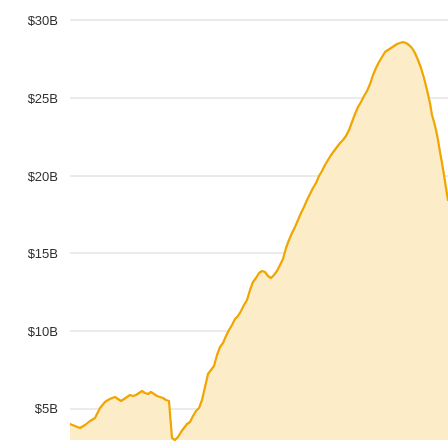[Figure (continuous-plot): Area chart showing financial value over time ranging from approximately $3B to $28B. The chart shows a volatile time series with an initial plateau around $8B, a dip to near $3B, then a rise through $15B to a peak around $28B, followed by a decline and recent sharp rise back above $25B.]